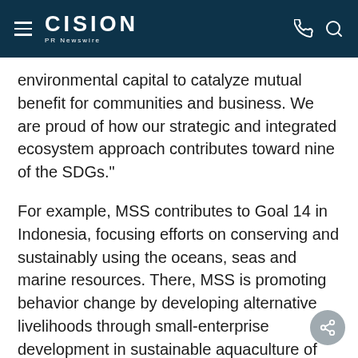CISION PR Newswire
environmental capital to catalyze mutual benefit for communities and business. We are proud of how our strategic and integrated ecosystem approach contributes toward nine of the SDGs."
For example, MSS contributes to Goal 14 in Indonesia, focusing efforts on conserving and sustainably using the oceans, seas and marine resources. There, MSS is promoting behavior change by developing alternative livelihoods through small-enterprise development in sustainable aquaculture of seahorses and ornamental fish.